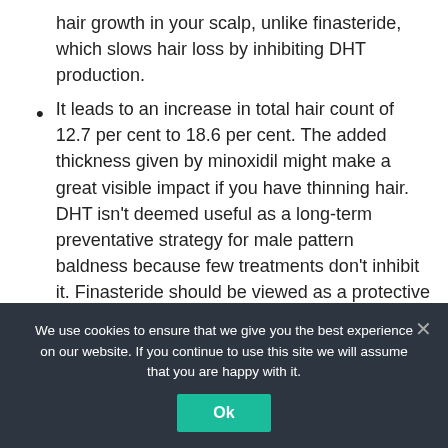hair growth in your scalp, unlike finasteride, which slows hair loss by inhibiting DHT production.
It leads to an increase in total hair count of 12.7 per cent to 18.6 per cent. The added thickness given by minoxidil might make a great visible impact if you have thinning hair. DHT isn't deemed useful as a long-term preventative strategy for male pattern baldness because few treatments don't inhibit it. Finasteride should be viewed as a protective shield against hair loss, whereas minoxidil should be seen as a hair
We use cookies to ensure that we give you the best experience on our website. If you continue to use this site we will assume that you are happy with it.